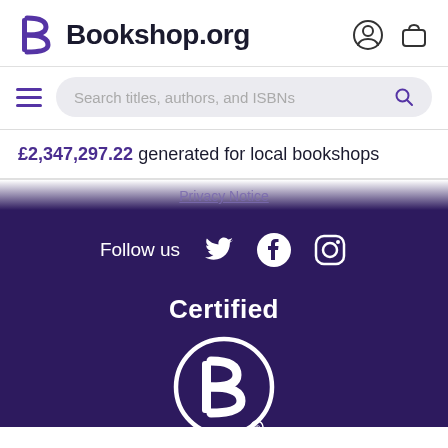[Figure (logo): Bookshop.org logo with stylized B lettermark and site name, plus user account and cart icons in header]
[Figure (screenshot): Search bar with hamburger menu icon, placeholder text 'Search titles, authors, and ISBNs', and magnifying glass icon]
£2,347,297.22 generated for local bookshops
Privacy Notice
Follow us
[Figure (infographic): Social media icons for Twitter, Facebook, and Instagram in white on dark purple background]
[Figure (logo): Certified B Corporation logo — white circle with B inside, on dark purple background, with 'Certified' text above]